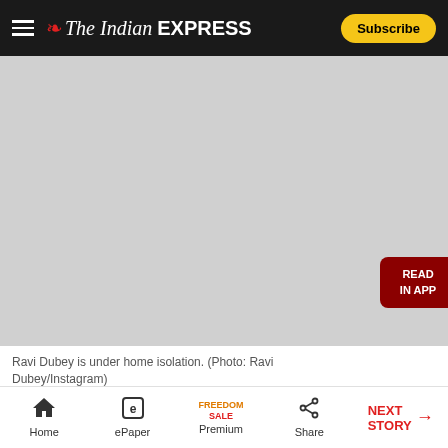The Indian EXPRESS — Subscribe
[Figure (photo): Gray placeholder image area showing a photo of Ravi Dubey, with a 'READ IN APP' button overlay on the right side.]
Ravi Dubey is under home isolation. (Photo: Ravi Dubey/Instagram)
Popular television actor Ravi Dubey has tested positive for Covid-19. The actor shared the news
Home | ePaper | Premium (FREEDOM SALE) | Share | NEXT STORY →